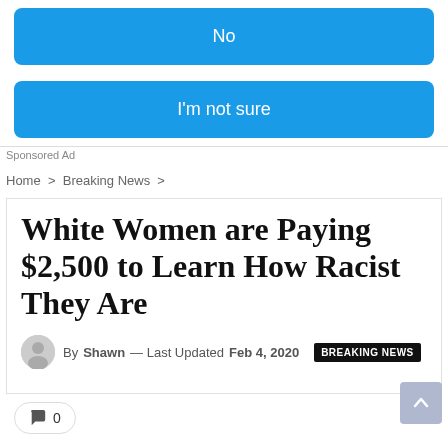No
I'm not sure
Sponsored Ad
Home > Breaking News >
White Women are Paying $2,500 to Learn How Racist They Are
By Shawn — Last Updated Feb 4, 2020  BREAKING NEWS
0